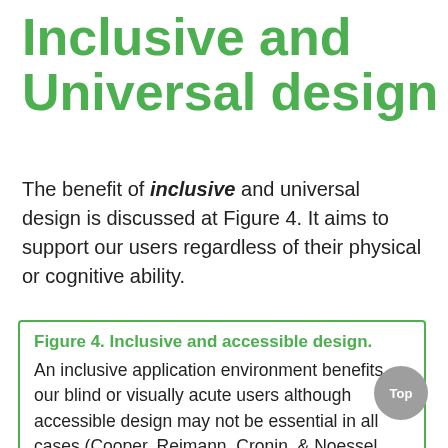Inclusive and Universal design
The benefit of inclusive and universal design is discussed at Figure 4. It aims to support our users regardless of their physical or cognitive ability.
Figure 4. Inclusive and accessible design.
An inclusive application environment benefits our blind or visually acute users although accessible design may not be essential in all cases (Cooper, Reimann, Cronin, & Noessel, 2014, p.399).